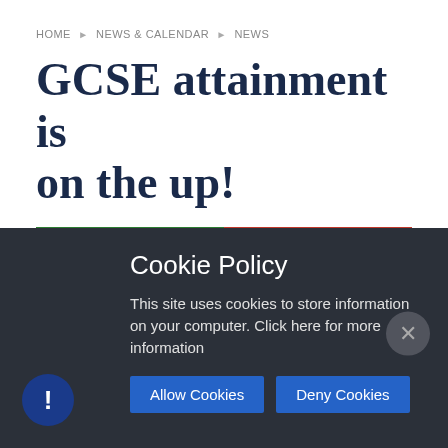HOME ▶ NEWS & CALENDAR ▶ NEWS
GCSE attainment is on the up!
Published on 22/08/19
Cookie Policy
This site uses cookies to store information on your computer. Click here for more information
Allow Cookies  Deny Cookies